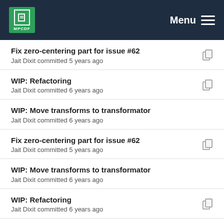MPCDF  Menu
Fix zero-centering part for issue #62
Jait Dixit committed 5 years ago
WIP: Refactoring
Jait Dixit committed 6 years ago
WIP: Move transforms to transformator
Jait Dixit committed 6 years ago
Fix zero-centering part for issue #62
Jait Dixit committed 5 years ago
WIP: Move transforms to transformator
Jait Dixit committed 6 years ago
WIP: Refactoring
Jait Dixit committed 6 years ago
WIP: Move transforms to transformator
Jait Dixit committed 6 years ago